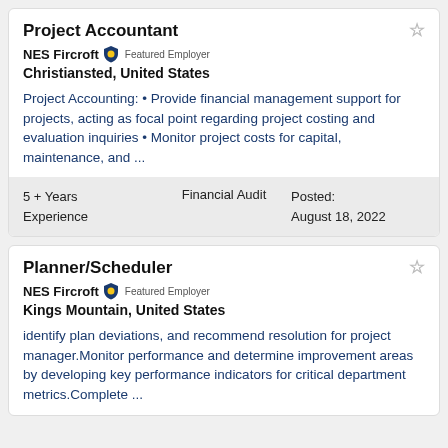Project Accountant
NES Fircroft Featured Employer
Christiansted, United States
Project Accounting: • Provide financial management support for projects, acting as focal point regarding project costing and evaluation inquiries • Monitor project costs for capital, maintenance, and ...
5 + Years Experience   Financial Audit   Posted: August 18, 2022
Planner/Scheduler
NES Fircroft Featured Employer
Kings Mountain, United States
identify plan deviations, and recommend resolution for project manager.Monitor performance and determine improvement areas by developing key performance indicators for critical department metrics.Complete ...